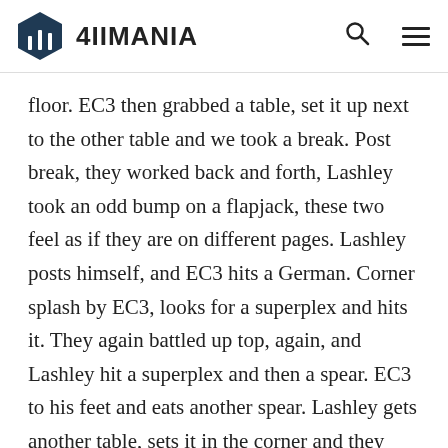4IIMANIA
floor. EC3 then grabbed a table, set it up next to the other table and we took a break. Post break, they worked back and forth, Lashley took an odd bump on a flapjack, these two feel as if they are on different pages. Lashley posts himself, and EC3 hits a German. Corner splash by EC3, looks for a superplex and hits it. They again battled up top, again, and Lashley hit a superplex and then a spear. EC3 to his feet and eats another spear. Lashley gets another table, sets it in the corner and they again brawl back and forth with Lashley hitting a spinebuster. EC3 hits the one percenter and then slams